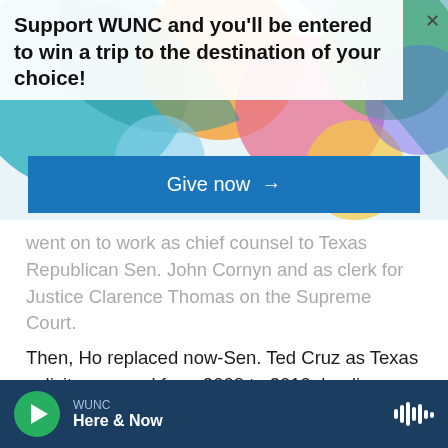[Figure (other): Colorful geometric background with circles and shapes in teal, orange, pink, green colors]
Support WUNC and you'll be entered to win a trip to the destination of your choice!
Give now →
went on to work as chief counsel to Texas Republican Sen. John Cornyn and as clerk for Justice Clarence Thomas on the Supreme Court.
Then, Ho replaced now-Sen. Ted Cruz as Texas solicitor general from 2008 to 2010, leading an aggressive legal attack against the federal government during the administration of President Barack Obama.
WUNC Here & Now